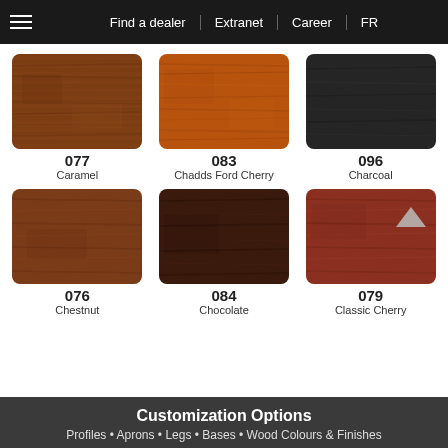Find a dealer | Extranet | Career | FR
[Figure (photo): Wood finish swatch 077 Caramel - medium warm brown wood texture]
077
Caramel
[Figure (photo): Wood finish swatch 083 Chadds Ford Cherry - bright orange-brown wood texture]
083
Chadds Ford Cherry
[Figure (photo): Wood finish swatch 096 Charcoal - very dark near-black finish]
096
Charcoal
[Figure (photo): Wood finish swatch 076 Chestnut - warm reddish-brown wood texture]
076
Chestnut
[Figure (photo): Wood finish swatch 084 Chocolate - very dark brown wood texture]
084
Chocolate
[Figure (photo): Wood finish swatch 079 Classic Cherry - reddish-brown wood texture]
079
Classic Cherry
Customization Options
Profiles • Aprons • Legs • Bases • Wood Colours & Finishes